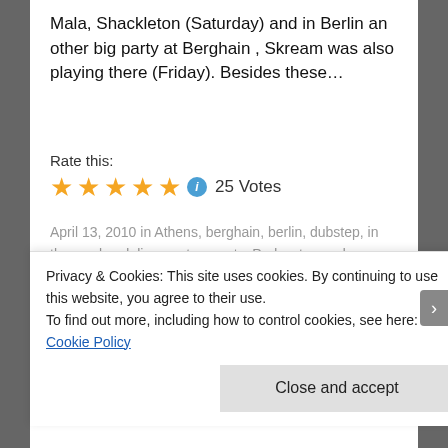Mala, Shackleton (Saturday) and in Berlin an other big party at Berghain , Skream was also playing there (Friday). Besides these…
Rate this:
[Figure (other): 5 gold stars rating widget with info icon and vote count: 25 Votes]
April 13, 2010 in Athens, berghain, berlin, dubstep, in the weekend, live, party reports, Podcasts, readers wrote, techno.
announcement: this Saturday on
Evolve on radio – the live set of
Privacy & Cookies: This site uses cookies. By continuing to use this website, you agree to their use.
To find out more, including how to control cookies, see here: Cookie Policy